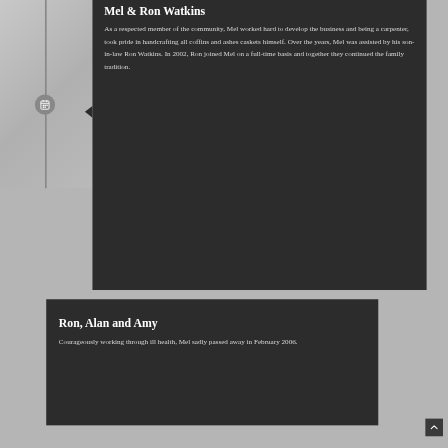Mel & Ron Watkins
As a respected member of the community, Mel worked hard to develop the business and being a carpenter, took pride in handcrafting all coffins and ashes caskets himself. Over the years, Mel was assisted by his son-in-law Ron Watkins. In 2002, Ron joined Mel on a full-time basis and together they continued the family tradition.
Ron, Alan and Amy
Courageously working through ill health, Mel sadly passed away in February 2006.